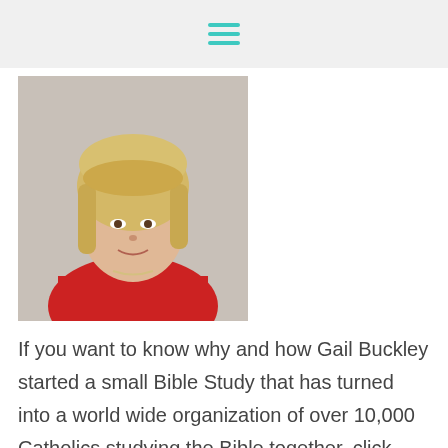[hamburger menu icon]
[Figure (photo): Portrait photo of Gail Buckley, a blonde woman wearing a red top, shoulder-length hair, smiling]
If you want to know why and how Gail Buckley started a small Bible Study that has turned into a world wide organization of over 10,000 Catholics studying the Bible together, click here. It is great story.
And while you're at it, why not jump in and join them, the water is fine!